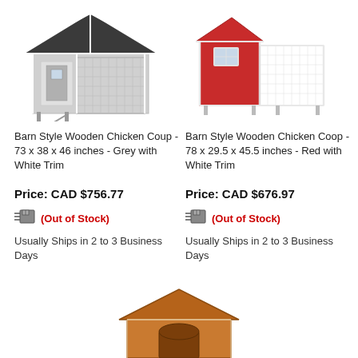[Figure (photo): Grey and white barn style wooden chicken coop with dark grey roof]
[Figure (photo): Red and white barn style wooden chicken coop]
Barn Style Wooden Chicken Coup - 73 x 38 x 46 inches - Grey with White Trim
Barn Style Wooden Chicken Coop - 78 x 29.5 x 45.5 inches - Red with White Trim
Price: CAD $756.77
Price: CAD $676.97
(Out of Stock)
(Out of Stock)
Usually Ships in 2 to 3 Business Days
Usually Ships in 2 to 3 Business Days
[Figure (photo): Brown wooden chicken coop with peaked roof, partially visible at bottom of page]